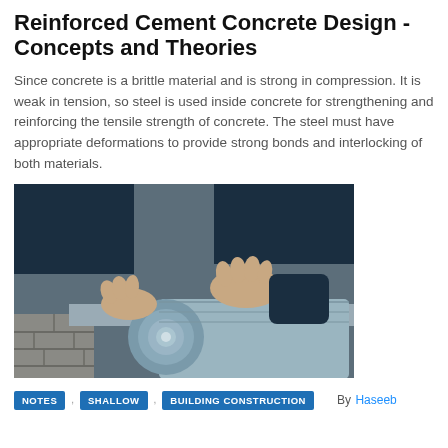Reinforced Cement Concrete Design - Concepts and Theories
Since concrete is a brittle material and is strong in compression. It is weak in tension, so steel is used inside concrete for strengthening and reinforcing the tensile strength of concrete. The steel must have appropriate deformations to provide strong bonds and interlocking of both materials.
[Figure (photo): Photograph of a person's hands rolling out a grey reinforced membrane or waterproofing sheet over a concrete block wall surface at a construction site.]
NOTES
SHALLOW
BUILDING CONSTRUCTION
By Haseeb